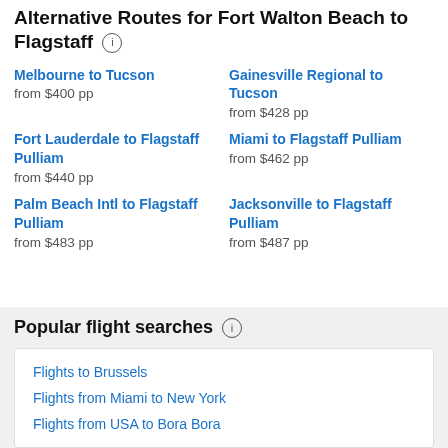Alternative Routes for Fort Walton Beach to Flagstaff
Melbourne to Tucson
from $400 pp
Gainesville Regional to Tucson
from $428 pp
Fort Lauderdale to Flagstaff Pulliam
from $440 pp
Miami to Flagstaff Pulliam
from $462 pp
Palm Beach Intl to Flagstaff Pulliam
from $483 pp
Jacksonville to Flagstaff Pulliam
from $487 pp
Popular flight searches
Flights to Brussels
Flights from Miami to New York
Flights from USA to Bora Bora